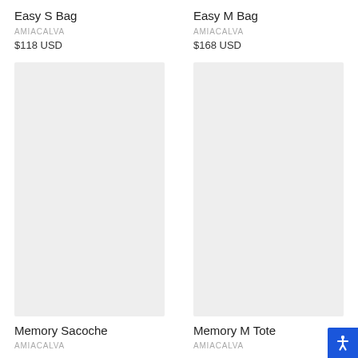Easy S Bag
AMIACALVA
$118 USD
[Figure (photo): Product image placeholder for Memory Sacoche bag, light gray background]
Memory Sacoche
AMIACALVA
Easy M Bag
AMIACALVA
$168 USD
[Figure (photo): Product image placeholder for Memory M Tote bag, light gray background]
Memory M Tote
AMIACALVA